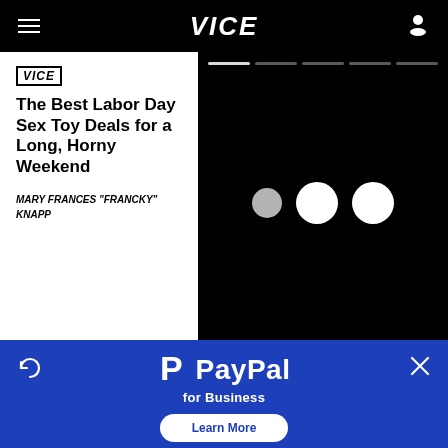VICE
[Figure (screenshot): VICE article card with title 'The Best Labor Day Sex Toy Deals for a Long, Horny Weekend' by Mary Frances "Francky" Knapp, with black video player area showing loading dots]
[Figure (logo): PayPal for Business advertisement banner with PayPal logo and Learn More button on blue background]